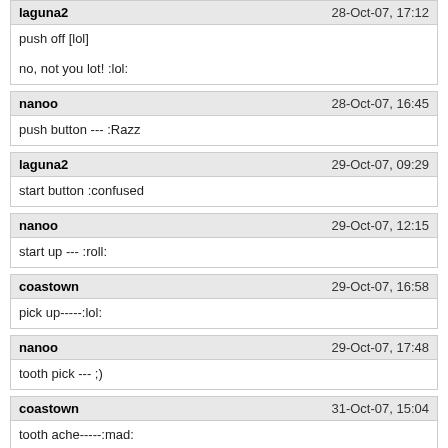laguna2 | 28-Oct-07, 17:12
push off [lol]

no, not you lot! :lol:
nanoo | 28-Oct-07, 16:45
push button --- :Razz
laguna2 | 29-Oct-07, 09:29
start button :confused
nanoo | 29-Oct-07, 12:15
start up --- :roll:
coastown | 29-Oct-07, 16:58
pick up-----:lol:
nanoo | 29-Oct-07, 17:48
tooth pick --- ;)
coastown | 31-Oct-07, 15:04
tooth ache-----:mad:
nanoo | 31-Oct-07, 15:09